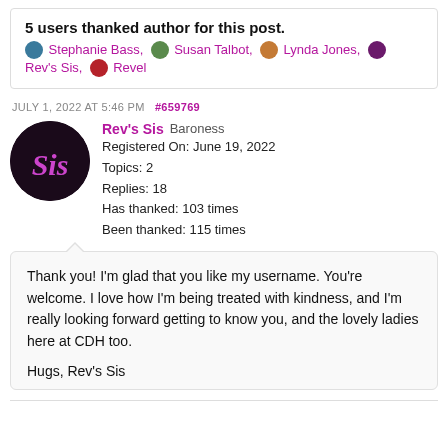5 users thanked author for this post.
Stephanie Bass, Susan Talbot, Lynda Jones, Rev's Sis, Revel
JULY 1, 2022 AT 5:46 PM  #659769
Rev's Sis  Baroness  Registered On: June 19, 2022  Topics: 2  Replies: 18  Has thanked: 103 times  Been thanked: 115 times
Thank you! I'm glad that you like my username. You're welcome. I love how I'm being treated with kindness, and I'm really looking forward getting to know you, and the lovely ladies here at CDH too.

Hugs, Rev's Sis